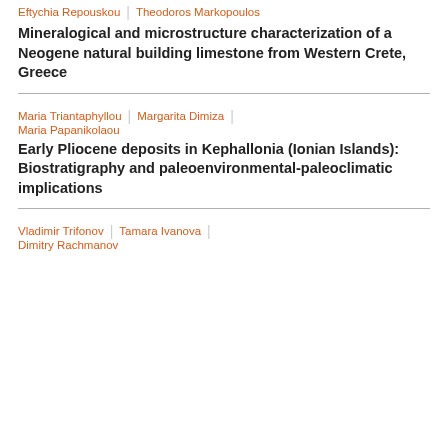Eftychia Repouskou | Theodoros Markopoulos
Mineralogical and microstructure characterization of a Neogene natural building limestone from Western Crete, Greece
Maria Triantaphyllou | Margarita Dimiza | Maria Papanikolaou
Early Pliocene deposits in Kephallonia (Ionian Islands): Biostratigraphy and paleoenvironmental-paleoclimatic implications
Vladimir Trifonov | Tamara Ivanova | Dimitry Rachmanov